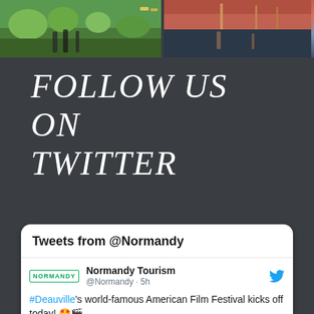[Figure (photo): Two photos side by side at the top: left shows a garden/park scene with people walking, right shows a sunset/waterfront scene with reflections on water]
FOLLOW US ON TWITTER
[Figure (screenshot): Twitter widget card showing 'Tweets from @Normandy' with a tweet from Normandy Tourism (@Normandy · 5h): #Deauville's world-famous American Film Festival kicks off today! 🤩🎬 #Deauville2022]